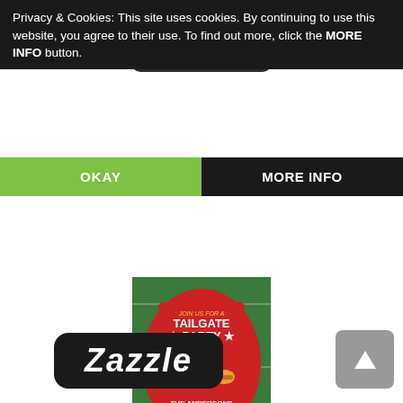Privacy & Cookies: This site uses cookies. By continuing to use this website, you agree to their use. To find out more, click the MORE INFO button.
[Figure (screenshot): Zazzle logo in dark rounded rectangle background]
OKAY
MORE INFO
[Figure (illustration): Tailgate Party BBQ Football Invitation card on green football field background with red BBQ grill shape, football helmet, hot dog, burger, football, THE ANDERSONS text, STADIUM PARKING LOT Lot 10 Space 2D]
Tailgate Party BBQ Football Invitation
[Figure (logo): Zazzle logo in black rounded rectangle]
[Figure (other): Grey scroll-to-top button with upward arrow]